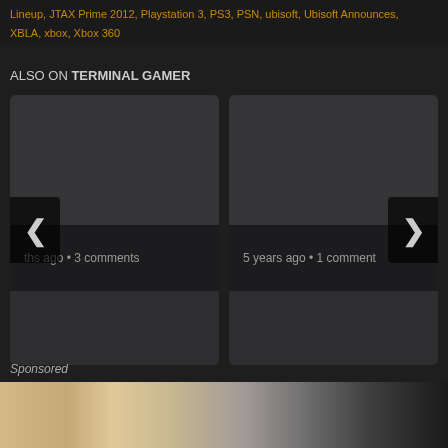Lineup, JTAX Prime 2012, Playstation 3, PS3, PSN, ubisoft, Ubisoft Announces, XBLA, xbox, Xbox 360
ALSO ON TERMINAL GAMER
[Figure (screenshot): Two article cards side by side. Left card shows a dark image placeholder, a meta bar with text cut off 'ths ago • 3 comments'. Right card shows a dark image placeholder, meta bar with '5 years ago • 1 comment'. Left and right navigation arrows visible on sides.]
Sponsored
[Figure (photo): Close-up photo of animal fur, showing light beige/cream colored fur on the left and dark black fur on the right, likely two dogs or cats.]